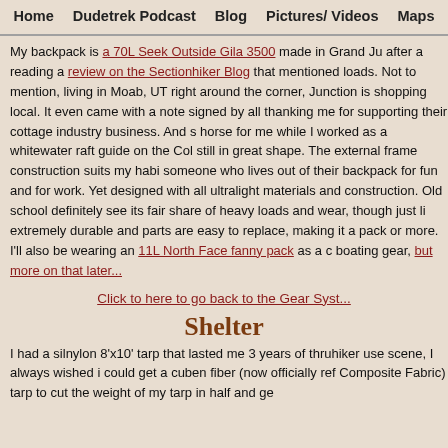Home  Dudetrek Podcast  Blog  Pictures/ Videos  Maps
My backpack is a 70L Seek Outside Gila 3500 made in Grand Ju... after a reading a review on the Sectionhiker Blog that mentioned loads. Not to mention, living in Moab, UT right around the corner, Junction is shopping local. It even came with a note signed by all thanking me for supporting their cottage industry business. And s... horse for me while I worked as a whitewater raft guide on the Col... still in great shape. The external frame construction suits my habi... someone who lives out of their backpack for fun and for work. Yet designed with all ultralight materials and construction. Old school definitely see its fair share of heavy loads and wear, though just li... extremely durable and parts are easy to replace, making it a pack or more. I'll also be wearing an 11L North Face fanny pack as a c... boating gear, but more on that later...
Click to here to go back to the Gear Syst...
Shelter
I had a silnylon 8'x10' tarp that lasted me 3 years of thruhiker use... scene, I always wished i could get a cuben fiber (now officially ref... Composite Fabric) tarp to cut the weight of my tarp in half and ge...